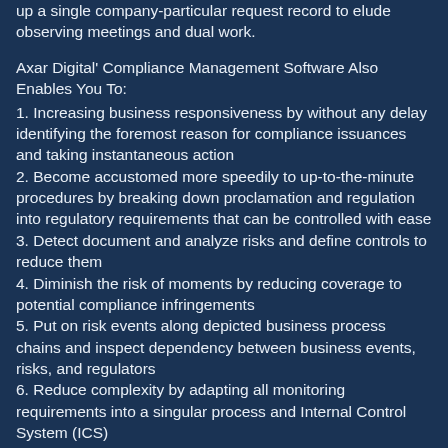up a single company-particular request record to elude observing meetings and dual work.
Axar Digital' Compliance Management Software Also Enables You To:
1. Increasing business responsiveness by without any delay identifying the foremost reason for compliance issuances and taking instantaneous action
2. Become accustomed more speedily to up-to-the-minute procedures by breaking down proclamation and regulation into regulatory requirements that can be controlled with ease
3. Detect document and analyze risks and define controls to reduce them
4. Diminish the risk of moments by reducing coverage to potential compliance infringements
5. Put on risk events along depicted business process chains and inspect dependency between business events, risks, and regulators
6. Reduce complexity by adapting all monitoring requirements into a singular process and Internal Control System (ICS)